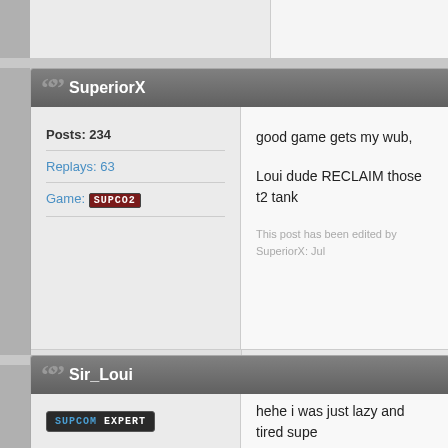SuperiorX
Posts: 234
Replays: 63
Game: SUPC02
good game gets my wub,

Loui dude RECLAIM those t2 tank
This post has been edited by SuperiorX: Jul
Sir_Loui
[Figure (screenshot): SUPCOM EXPERT badge/logo]
hehe i was just lazy and tired supe